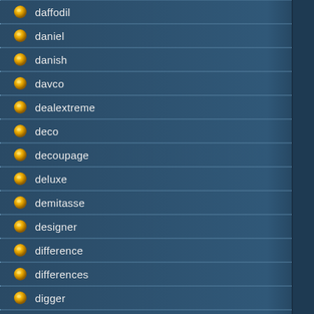daffodil
daniel
danish
davco
dealextreme
deco
decoupage
deluxe
demitasse
designer
difference
differences
digger
diggin
dior